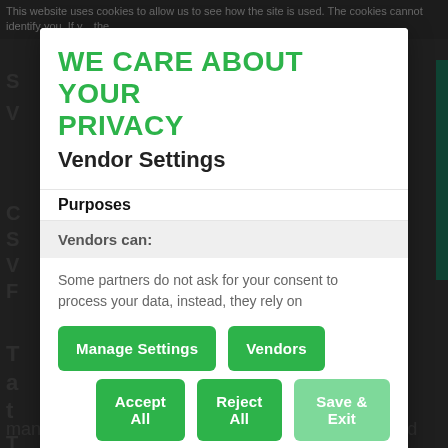This website uses cookies to allow us to see how the site is used. The cookies cannot identify you. If y... the
WE CARE ABOUT YOUR PRIVACY
Vendor Settings
Purposes
Vendors can:
Some partners do not ask for your consent to process your data, instead, they rely on
Manage Settings
Vendors
Accept All
Reject All
Save & Exit
many of us, especially women, have a complex and